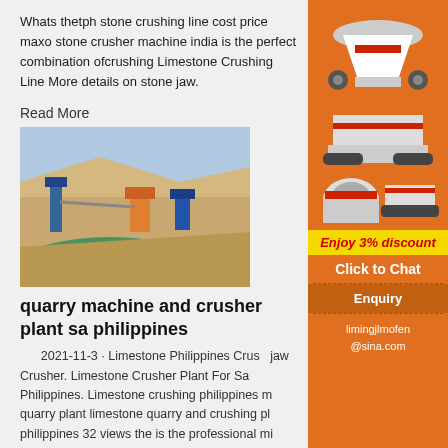Whats thetph stone crushing line cost price maxo stone crusher machine india is the perfect combination ofcrushing Limestone Crushing Line More details on stone jaw.
Read More
[Figure (photo): Aerial/wide view of a quarry with crushing plant machinery, sandy terrain, and green water in the foreground.]
quarry machine and crusher plant sa philippines
2021-11-3 · Limestone Philippines Crush jaw Crusher. Limestone Crusher Plant For Sa Philippines. Limestone crushing philippines m quarry plant limestone quarry and crushing pl philippines 32 views the is the professional mi equipments manufacturer in the world located in chinaindia along online limestone quarry production line
[Figure (infographic): Orange sidebar advertisement showing mining/crushing machines, 'Enjoy 3% discount', 'Click to Chat', 'Enquiry', and 'limingjlmofen@sina.com' contact details.]